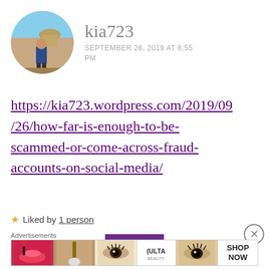[Figure (photo): Circular avatar photo of a person standing outdoors with a scenic background including a domed building and blue sky.]
kia723
SEPTEMBER 26, 2019 AT 8:55 PM
https://kia723.wordpress.com/2019/09/26/how-far-is-enough-to-be-scammed-or-come-across-fraud-accounts-on-social-media/
★ Liked by 1 person
REPLY
Advertisements
[Figure (photo): Advertisement banner showing cosmetic/beauty product images including lips with lipstick, a makeup brush, an eye with mascara, ULTA beauty logo, an eye with eyeshadow, and SHOP NOW text.]